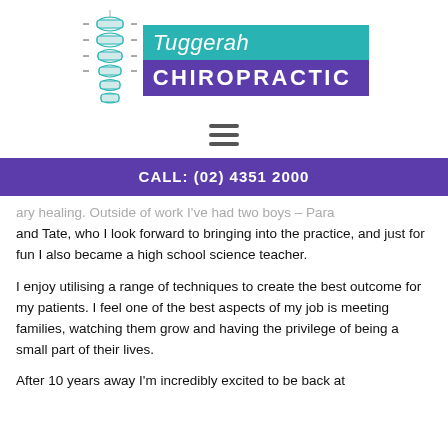[Figure (logo): Tuggerah Chiropractic logo with spine illustration and two-tone text banner (teal and purple)]
CALL: (02) 4351 2000
ary healing. Outside of work I've had two boys – Para and Tate, who I look forward to bringing into the practice, and just for fun I also became a high school science teacher.
I enjoy utilising a range of techniques to create the best outcome for my patients. I feel one of the best aspects of my job is meeting families, watching them grow and having the privilege of being a small part of their lives.
After 10 years away I'm incredibly excited to be back at